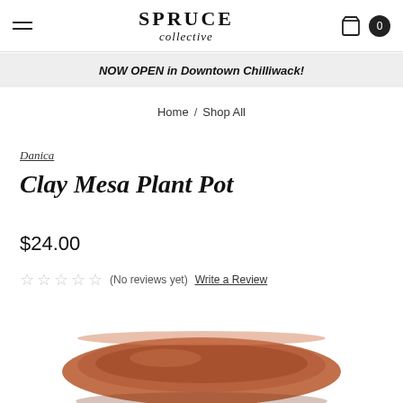SPRUCE collective
NOW OPEN in Downtown Chilliwack!
Home / Shop All
Danica
Clay Mesa Plant Pot
$24.00
(No reviews yet) Write a Review
[Figure (photo): Terracotta clay plant pot saucer viewed from above, showing the round rim and dish in a warm reddish-brown color]